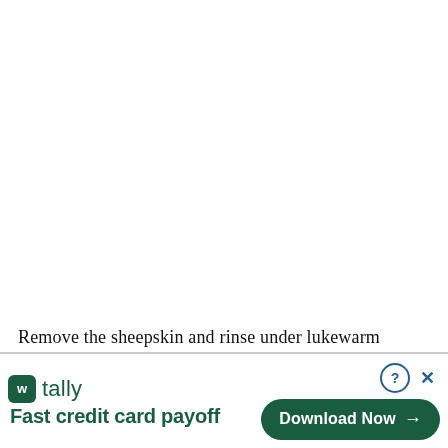Remove the sheepskin and rinse under lukewarm
[Figure (screenshot): Advertisement banner for Tally app — 'Fast credit card payoff' with a green Download Now button and close/help controls]